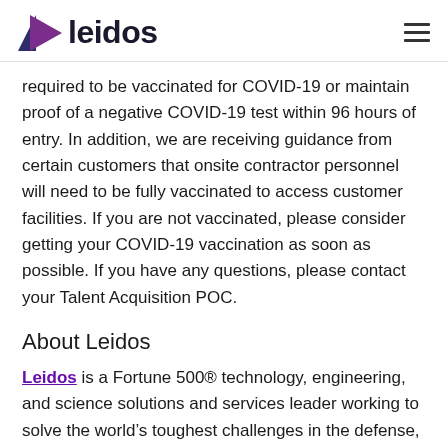[Figure (logo): Leidos logo with purple arrow/triangle icon and bold dark text 'leidos']
required to be vaccinated for COVID-19 or maintain proof of a negative COVID-19 test within 96 hours of entry. In addition, we are receiving guidance from certain customers that onsite contractor personnel will need to be fully vaccinated to access customer facilities. If you are not vaccinated, please consider getting your COVID-19 vaccination as soon as possible. If you have any questions, please contact your Talent Acquisition POC.
About Leidos
Leidos is a Fortune 500® technology, engineering, and science solutions and services leader working to solve the world’s toughest challenges in the defense,